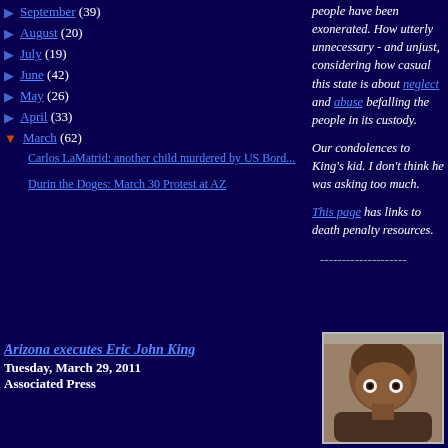▶ September (39)
▶ August (20)
▶ July (19)
▶ June (42)
▶ May (26)
▶ April (33)
▼ March (62)
Carlos LaMatrid: another child murdered by US Bord...
Durin the Doges: March 30 Protest at AZ
people have been exonerated. How utterly unnecessary - and unjust, considering how casual this state is about neglect and abuse befalling the people in its custody.
Our condolences to King's kid. I don't think he was asking too much.
This page has links to death penalty resources.
--------------------
Arizona executes Eric John King
Tuesday, March 29, 2011
Associated Press
[Figure (photo): Mugshot photo of Eric John King, a bald Black man looking directly at the camera]